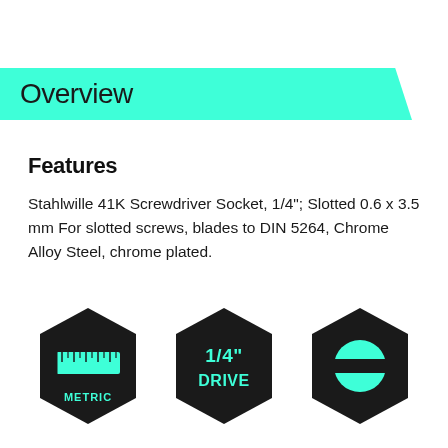Overview
Features
Stahlwille 41K Screwdriver Socket, 1/4"; Slotted 0.6 x 3.5 mm For slotted screws, blades to DIN 5264, Chrome Alloy Steel, chrome plated.
[Figure (infographic): Three hexagonal black badges: 1) Metric badge with ruler icon and METRIC label, 2) 1/4" DRIVE badge with text, 3) Slotted screw tip badge with green circle icon]